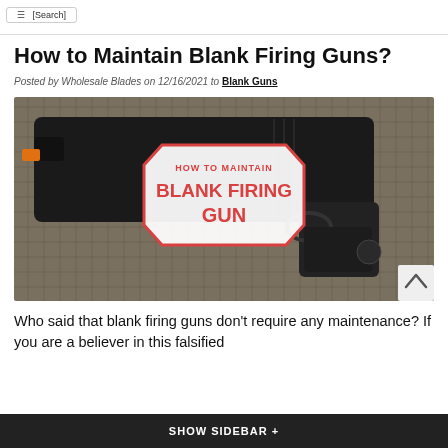[Search/navigation button]
How to Maintain Blank Firing Guns?
Posted by Wholesale Blades on 12/16/2021 to Blank Guns
[Figure (photo): Photo of a black blank firing gun on a netting background with an overlay badge reading 'HOW TO MAINTAIN BLANK FIRING GUN' in red text on a white hexagon-shaped label with red border.]
Who said that blank firing guns don't require any maintenance? If you are a believer in this falsified
SHOW SIDEBAR +